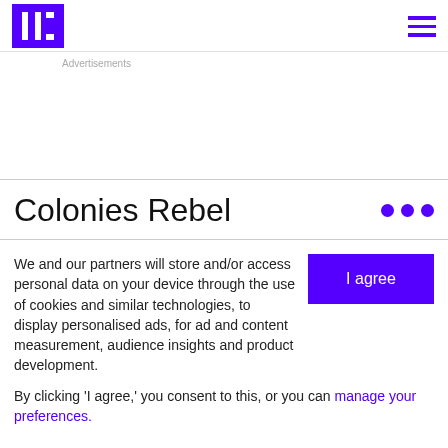[Figure (logo): Purple square logo with white vertical and horizontal bar marks resembling stylized text columns]
Advertisements
Colonies Rebel
We and our partners will store and/or access personal data on your device through the use of cookies and similar technologies, to display personalised ads, for ad and content measurement, audience insights and product development.
By clicking 'I agree,' you consent to this, or you can manage your preferences.